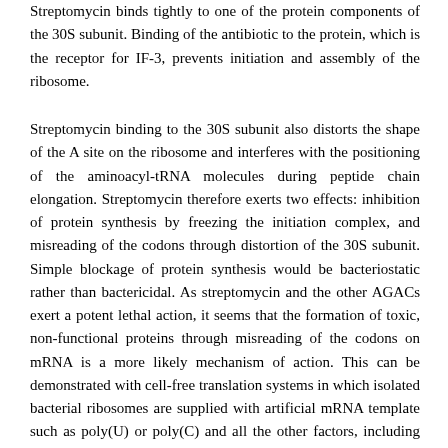Streptomycin binds tightly to one of the protein components of the 30S subunit. Binding of the antibiotic to the protein, which is the receptor for IF-3, prevents initiation and assembly of the ribosome.
Streptomycin binding to the 30S subunit also distorts the shape of the A site on the ribosome and interferes with the positioning of the aminoacyl-tRNA molecules during peptide chain elongation. Streptomycin therefore exerts two effects: inhibition of protein synthesis by freezing the initiation complex, and misreading of the codons through distortion of the 30S subunit. Simple blockage of protein synthesis would be bacteriostatic rather than bactericidal. As streptomycin and the other AGACs exert a potent lethal action, it seems that the formation of toxic, non-functional proteins through misreading of the codons on mRNA is a more likely mechanism of action. This can be demonstrated with cell-free translation systems in which isolated bacterial ribosomes are supplied with artificial mRNA template such as poly(U) or poly(C) and all the other factors, including aminoacyl-tRNAs needed for protein synthesis.